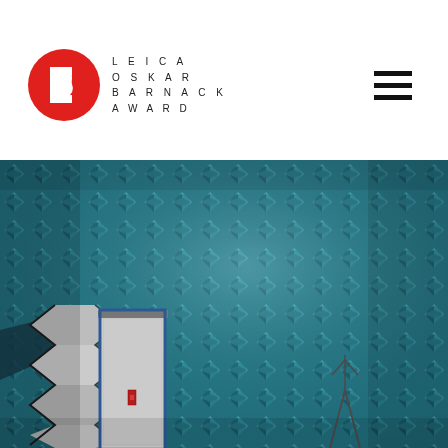[Figure (logo): Leica Oskar Barnack Award logo: red circle with white letter B cutout on the left, and spaced text LEICA / OSKAR / BARNACK / AWARD to the right in black on white background]
[Figure (photo): Interior photograph of an anechoic chamber covered with teal/blue pyramid-shaped acoustic foam absorbers on all walls and ceiling, with a white equipment cabinet/door and some antenna equipment visible in the lower left portion of the image]